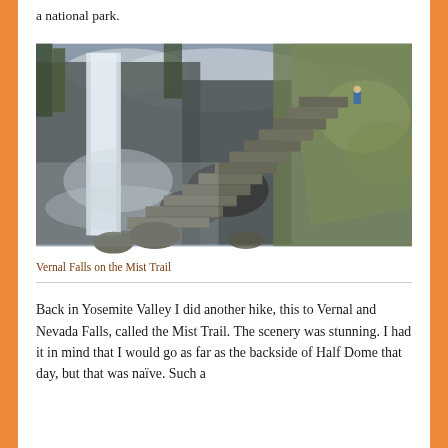a national park.
[Figure (photo): Stone staircase trail with a large waterfall (Vernal Falls) on the left, moss-covered rocks and green hillside on the right, misty atmosphere, hiker visible in upper right background. Vernal Falls on the Mist Trail, Yosemite.]
Vernal Falls on the Mist Trail
Back in Yosemite Valley I did another hike, this to Vernal and Nevada Falls, called the Mist Trail. The scenery was stunning. I had it in mind that I would go as far as the backside of Half Dome that day, but that was naïve. Such a